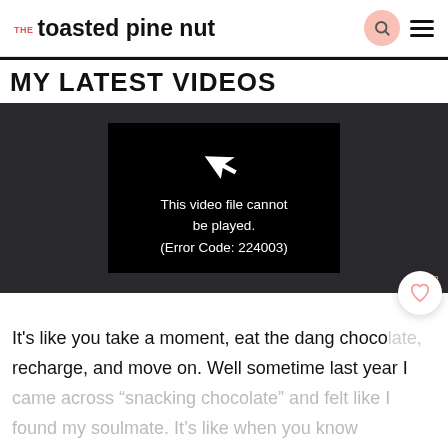THE toasted pine nut
MY LATEST VIDEOS
[Figure (screenshot): Video player showing error message: 'This video file cannot be played. (Error Code: 224003)' with a broken play icon on dark background. Counter showing 23 in bottom right.]
It's like you take a moment, eat the dang chocolate, recharge, and move on. Well sometime last year I came across “snacking chocolate” and felt like I found my soulmate. It's like when you know